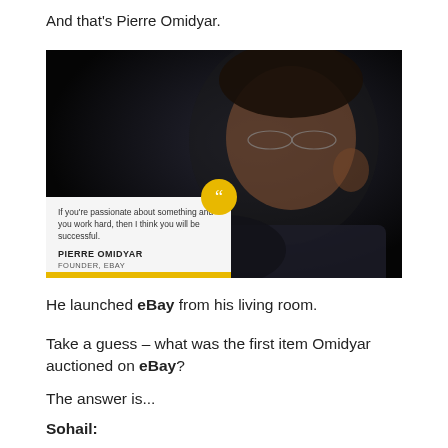And that's Pierre Omidyar.
[Figure (photo): Portrait photo of Pierre Omidyar with a quote overlay: 'If you're passionate about something and you work hard, then I think you will be successful.' — PIERRE OMIDYAR, FOUNDER, EBAY]
He launched eBay from his living room.
Take a guess – what was the first item Omidyar auctioned on eBay?
The answer is...
Sohail: